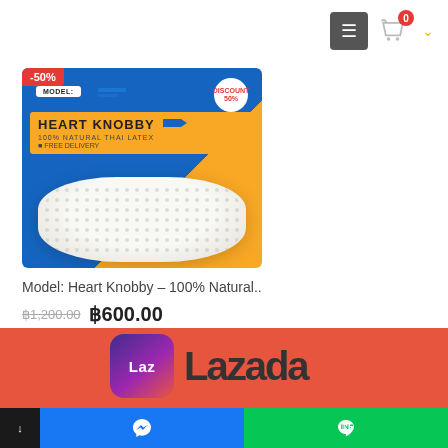[Figure (screenshot): E-commerce website screenshot showing a product card with a latex pillow (Heart Knobby model) at 50% discount, navigation bar with hamburger menu and cart icon, Lazada banner at the bottom, and social media buttons in the footer bar.]
Model: Heart Knobby – 100% Natural..
฿1,200.00  ฿600.00
[Figure (logo): Lazada logo with orange background and Laz icon]
Messenger | LINE